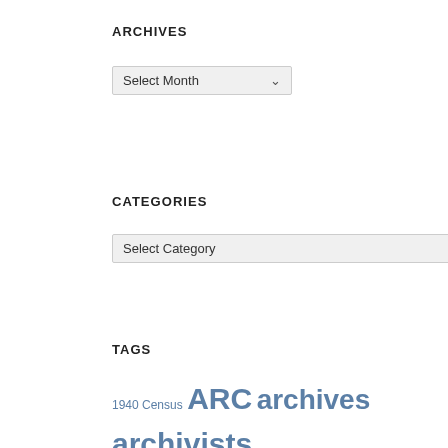ARCHIVES
[Figure (screenshot): A dropdown select box labeled 'Select Month' with a chevron arrow on the right]
CATEGORIES
[Figure (screenshot): A dropdown select box labeled 'Select Category' with a chevron arrow on the right, wider than the month selector]
TAGS
1940 Census ARC archives archivists census records Chicago citizen archivist Civil War Collaboration crowdsourcing